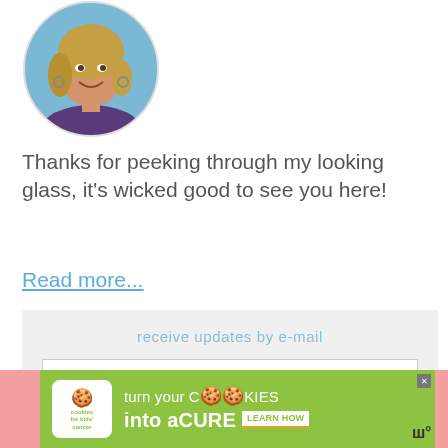[Figure (photo): Circular cropped portrait photo of a smiling woman with blonde hair, outdoors with a blue background]
Thanks for peeking through my looking glass, it's wicked good to see you here!
Read more...
receive updates by e-mail
E-Mail Address
SUBSCRIBE
[Figure (infographic): Advertisement banner: cookies for kids cancer - turn your COOKIES into a CURE LEARN HOW]